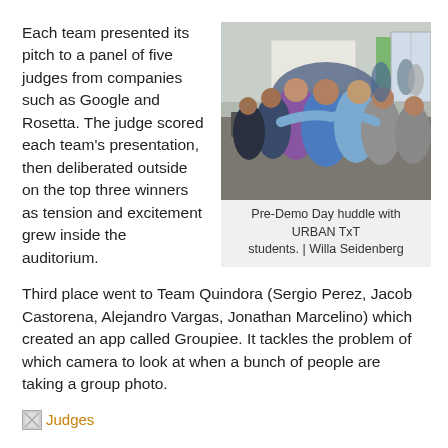Each team presented its pitch to a panel of five judges from companies such as Google and Rosetta.  The judge scored each team's presentation, then deliberated outside on the top three winners as tension and excitement grew inside the auditorium.
[Figure (photo): Group of students huddled together with arms around each other in a room with computers, taken before Demo Day.]
Pre-Demo Day huddle with URBAN TxT students. | Willa Seidenberg
Third place went to Team Quindora (Sergio Perez, Jacob Castorena, Alejandro Vargas, Jonathan Marcelino) which created an app called Groupiee.  It tackles the problem of which camera to look at when a bunch of people are taking a group photo.
[Figure (illustration): Broken image icon followed by the text 'Judges' in orange/gold color, serving as a link.]